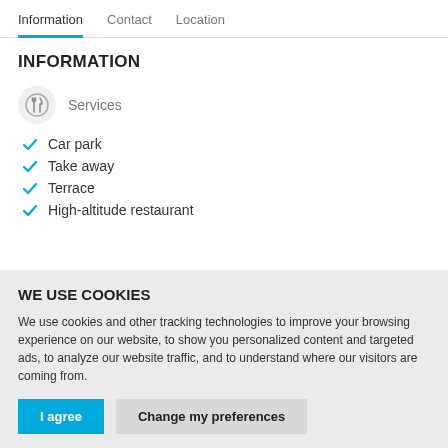Information   Contact   Location
INFORMATION
[Figure (illustration): Circular icon with crossed fork and knife (restaurant/services icon)]
Services
Car park
Take away
Terrace
High-altitude restaurant
WE USE COOKIES
We use cookies and other tracking technologies to improve your browsing experience on our website, to show you personalized content and targeted ads, to analyze our website traffic, and to understand where our visitors are coming from.
I agree   Change my preferences